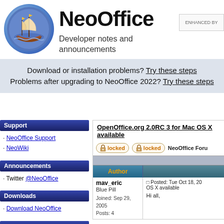[Figure (logo): NeoOffice logo: circular emblem with a sailing ship on blue gradient background with flags]
NeoOffice
Developer notes and announcements
ENHANCED BY
Download or installation problems? Try these steps
Problems after upgrading to NeoOffice 2022? Try these steps
Support
· NeoOffice Support
· NeoWiki
Announcements
· Twitter @NeoOffice
Downloads
· Download NeoOffice
RSS Feeds
OpenOffice.org 2.0RC 3 for Mac OS X available
locked   locked   NeoOffice Foru
| Author |  |
| --- | --- |
| mav_eric
Blue Pill

Joined: Sep 29, 2005
Posts: 4 | Posted: Tue Oct 18, 20
OS X available

Hi all, |